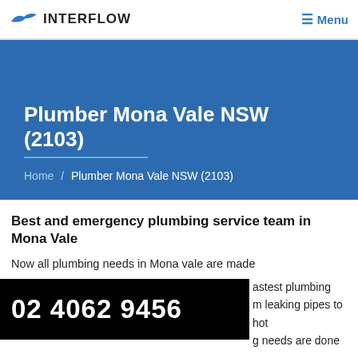Menu
Plumber Mona Vale NSW (2103)
Home / Plumber Mona Vale NSW (2103)
Best and emergency plumbing service team in Mona Vale
Now all plumbing needs in Mona vale are made fastest plumbing m leaking pipes to hot g needs are done
02 4062 9456